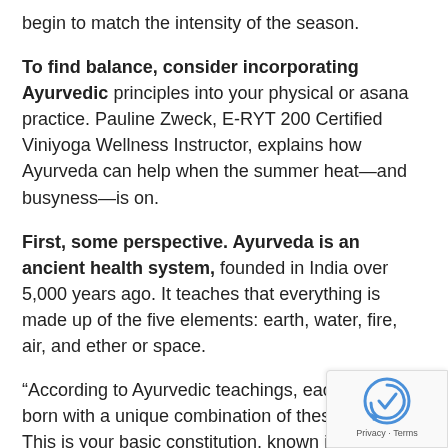begin to match the intensity of the season.
To find balance, consider incorporating Ayurvedic principles into your physical or asana practice. Pauline Zweck, E-RYT 200 Certified Viniyoga Wellness Instructor, explains how Ayurveda can help when the summer heat—and busyness—is on.
First, some perspective. Ayurveda is an ancient health system, founded in India over 5,000 years ago. It teaches that everything is made up of the five elements: earth, water, fire, air, and ether or space.
“According to Ayurvedic teachings, each of us is born with a unique combination of these elements. This is your basic constitution, known in Sanskrit as ‘prakriti’. Your constitution never changes, and it’s expressed as dos… Zweck says.